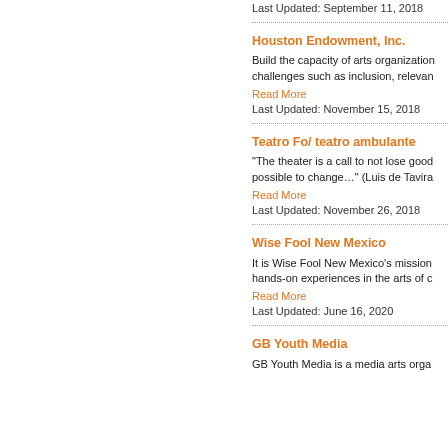Last Updated: September 11, 2018
Houston Endowment, Inc.
Build the capacity of arts organization challenges such as inclusion, relevan
Read More
Last Updated: November 15, 2018
Teatro Fo/ teatro ambulante
"The theater is a call to not lose good possible to change…" (Luis de Tavira
Read More
Last Updated: November 26, 2018
Wise Fool New Mexico
It is Wise Fool New Mexico's mission hands-on experiences in the arts of c
Read More
Last Updated: June 16, 2020
GB Youth Media
GB Youth Media is a media arts orga